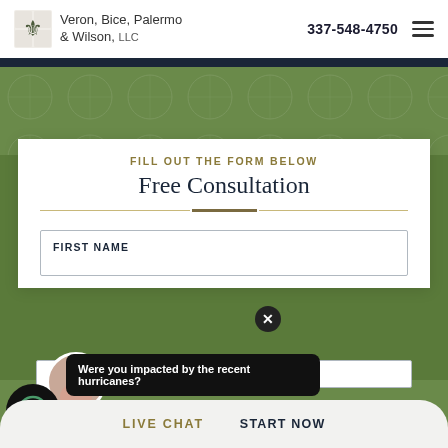Veron, Bice, Palermo & Wilson, LLC | 337-548-4750
Free Consultation
FILL OUT THE FORM BELOW
FIRST NAME
Were you impacted by the recent hurricanes?
LIVE CHAT   START NOW